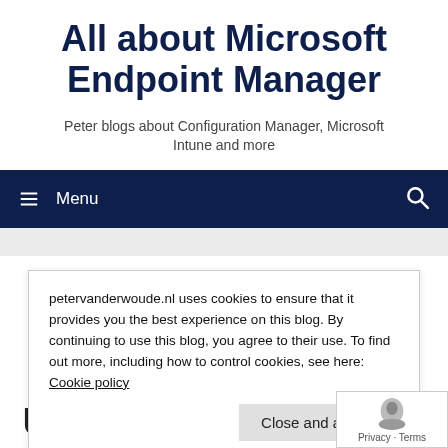All about Microsoft Endpoint Manager
Peter blogs about Configuration Manager, Microsoft Intune and more
Menu
petervanderwoude.nl uses cookies to ensure that it provides you the best experience on this blog. By continuing to use this blog, you agree to their use. To find out more, including how to control cookies, see here: Cookie policy
Close and accept
Updates Publisher